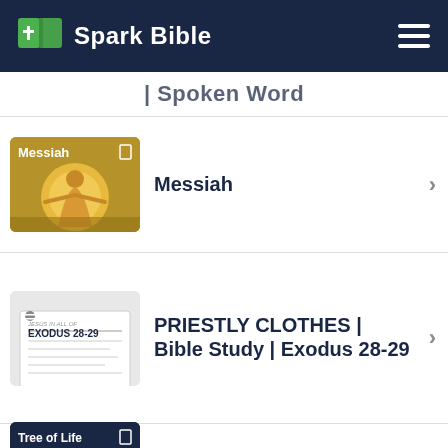Spark Bible
| Spoken Word
Messiah
PRIESTLY CLOTHES | Bible Study | Exodus 28-29
Tree of Life